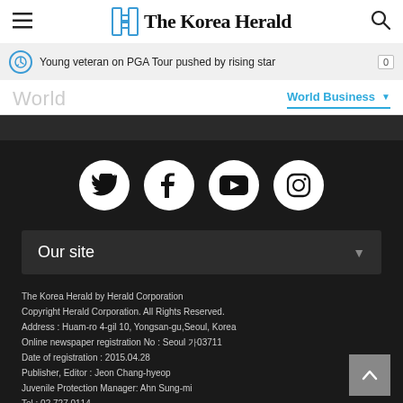The Korea Herald
Young veteran on PGA Tour pushed by rising star
World
World Business
[Figure (other): Social media icons: Twitter, Facebook, YouTube, Instagram on dark background]
Our site
The Korea Herald by Herald Corporation
Copyright Herald Corporation. All Rights Reserved.
Address : Huam-ro 4-gil 10, Yongsan-gu,Seoul, Korea
Online newspaper registration No : Seoul 가03711
Date of registration : 2015.04.28
Publisher, Editor : Jeon Chang-hyeop
Juvenile Protection Manager: Ahn Sung-mi
Tel : 02.727.0114